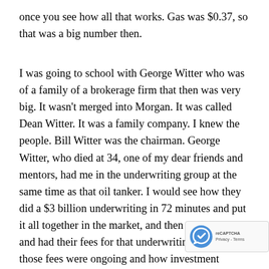once you see how all that works. Gas was $0.37, so that was a big number then.
I was going to school with George Witter who was of a family of a brokerage firm that then was very big. It wasn't merged into Morgan. It was called Dean Witter. It was a family company. I knew the people. Bill Witter was the chairman. George Witter, who died at 34, one of my dear friends and mentors, had me in the underwriting group at the same time as that oil tanker. I would see how they did a $3 billion underwriting in 72 minutes and put it all together in the market, and then went to lunch and had their fees for that underwriting, and how those fees were ongoing and how investment banking really works. It usually takes years and years to be inside syndicated underwriting; how they're packaged, how they're put